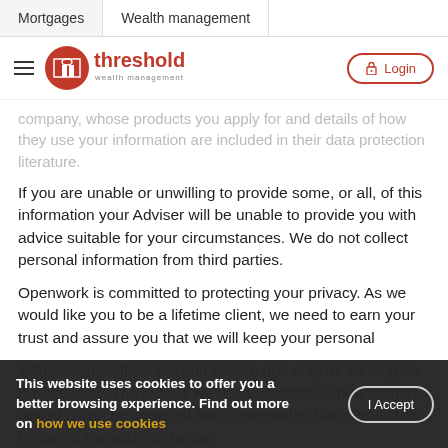Mortgages  |  Wealth management
[Figure (logo): Threshold Wealth Management logo with hamburger menu and Login button]
company, whose products you apply for and details of how they use your information are included in their data protection literature.
If you are unable or unwilling to provide some, or all, of this information your Adviser will be unable to provide you with advice suitable for your circumstances. We do not collect personal information from third parties.
Openwork is committed to protecting your privacy. As we would like you to be a lifetime client, we need to earn your trust and assure you that we will keep your personal information confidential and secure and only for as long as is necessary. The criteria we use to determine how long this period is can be obtained from Openworks Data Protection Officer at the address below.
This website uses cookies to offer you a better browsing experience. Find out more on how we use cookies